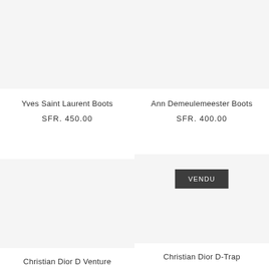Yves Saint Laurent Boots
SFR. 450.00
Ann Demeulemeester Boots
SFR. 400.00
VENDU
Christian Dior D Venture
Christian Dior D-Trap